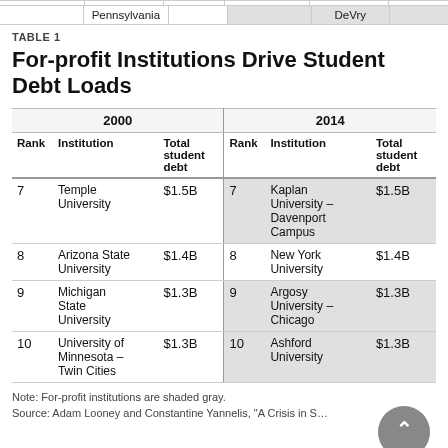|  | Pennsylvania | DeVry |
| --- | --- | --- |
|  |
TABLE 1
For-profit Institutions Drive Student Debt Loads
| Rank | Institution | Total student debt | Rank | Institution | Total student debt |
| --- | --- | --- | --- | --- | --- |
| 7 | Temple University | $1.5B | 7 | Kaplan University – Davenport Campus | $1.5B |
| 8 | Arizona State University | $1.4B | 8 | New York University | $1.4B |
| 9 | Michigan State University | $1.3B | 9 | Argosy University – Chicago | $1.3B |
| 10 | University of Minnesota – Twin Cities | $1.3B | 10 | Ashford University | $1.3B |
Note: For-profit institutions are shaded gray.
Source: Adam Looney and Constantine Yannelis, "A Crisis in S…